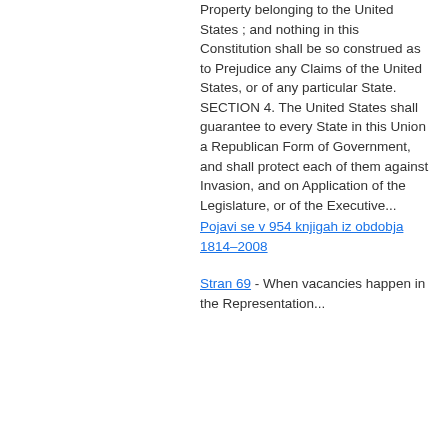Property belonging to the United States ; and nothing in this Constitution shall be so construed as to Prejudice any Claims of the United States, or of any particular State. SECTION 4. The United States shall guarantee to every State in this Union a Republican Form of Government, and shall protect each of them against Invasion, and on Application of the Legislature, or of the Executive...
Pojavi se v 954 knjigah iz obdobja 1814–2008
Stran 69 - When vacancies happen in the Representation...